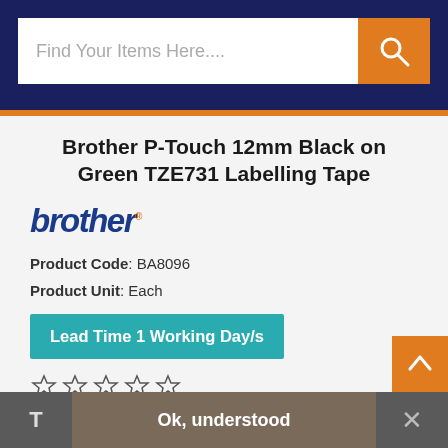Find Your Items Here....
Brother P-Touch 12mm Black on Green TZE731 Labelling Tape
[Figure (logo): Brother brand logo in dark blue italic bold font with orange dot after the brand name]
Product Code: BA8096
Product Unit: Each
Lead Time 1 Working Day/s
(0 Reviews) | Be the first to write a Review
Ensures durable, easily readable results